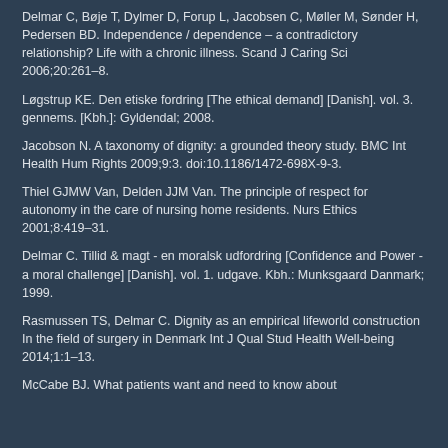Delmar C, Bøje T, Dylmer D, Forup L, Jacobsen C, Møller M, Sønder H, Pedersen BD. Independence / dependence – a contradictory relationship? Life with a chronic illness. Scand J Caring Sci 2006;20:261–8.
Løgstrup KE. Den etiske fordring [The ethical demand] [Danish]. vol. 3. gennems. [Kbh.]: Gyldendal; 2008.
Jacobson N. A taxonomy of dignity: a grounded theory study. BMC Int Health Hum Rights 2009;9:3. doi:10.1186/1472-698X-9-3.
Thiel GJMW Van, Delden JJM Van. The principle of respect for autonomy in the care of nursing home residents. Nurs Ethics 2001;8:419–31.
Delmar C. Tillid & magt - en moralsk udfordring [Confidence and Power - a moral challenge] [Danish]. vol. 1. udgave. Kbh.: Munksgaard Danmark; 1999.
Rasmussen TS, Delmar C. Dignity as an empirical lifeworld construction In the field of surgery in Denmark Int J Qual Stud Health Well-being 2014;1:1–13.
McCabe BJ. What patients want and need to know about...